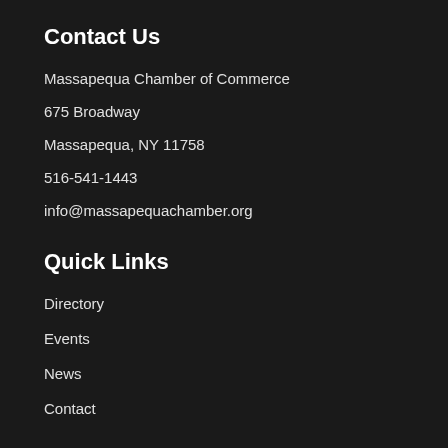Contact Us
Massapequa Chamber of Commerce
675 Broadway
Massapequa, NY 11758
516-541-1443
info@massapequachamber.org
Quick Links
Directory
Events
News
Contact